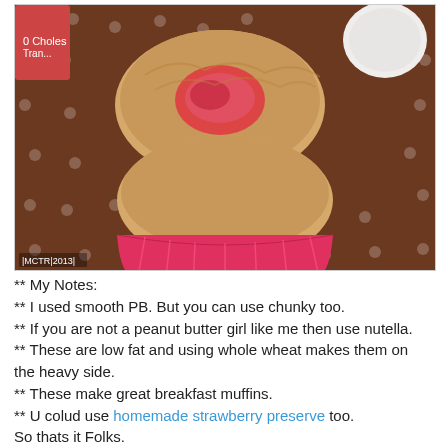[Figure (photo): A photograph of a peanut butter and jelly muffin torn open to reveal red jam filling, in a colorful cupcake liner, on a brown polka dot surface. A white mug and other items are visible in the background. Watermark reads MCTR 2013.]
** My Notes:
** I used smooth PB. But you can use chunky too.
** If you are not a peanut butter girl like me then use nutella.
** These are low fat and using whole wheat makes them on the heavy side.
** These make great breakfast muffins.
** U colud use homemade strawberry preserve too.
So thats it Folks.